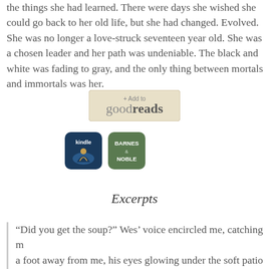the things she had learned. There were days she wished she could go back to her old life, but she had changed. Evolved. She was no longer a love-struck seventeen year old. She was a chosen leader and her path was undeniable. The black and white was fading to gray, and the only thing between mortals and immortals was her.
[Figure (logo): Add to Goodreads button - beige/tan colored button with goodreads branding]
[Figure (logo): Kindle app icon - dark blue with silhouette of person reading under tree]
[Figure (logo): Barnes & Noble app icon - green rounded square with BARNES & NOBLE text]
Excerpts
“Did you get the soup?” Wes’ voice encircled me, catching m a foot away from me, his eyes glowing under the soft patio lights